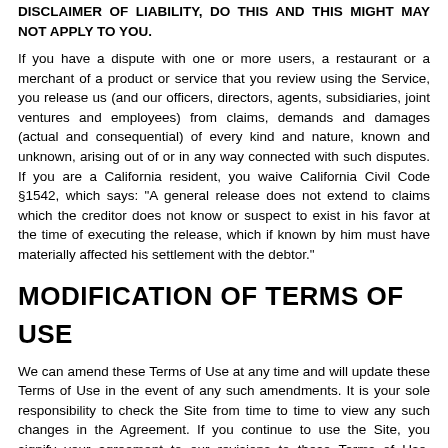DISCLAIMER OF LIABILITY, DO THIS AND THIS MIGHT MAY NOT APPLY TO YOU.
If you have a dispute with one or more users, a restaurant or a merchant of a product or service that you review using the Service, you release us (and our officers, directors, agents, subsidiaries, joint ventures and employees) from claims, demands and damages (actual and consequential) of every kind and nature, known and unknown, arising out of or in any way connected with such disputes. If you are a California resident, you waive California Civil Code §1542, which says: "A general release does not extend to claims which the creditor does not know or suspect to exist in his favor at the time of executing the release, which if known by him must have materially affected his settlement with the debtor."
MODIFICATION OF TERMS OF USE
We can amend these Terms of Use at any time and will update these Terms of Use in the event of any such amendments. It is your sole responsibility to check the Site from time to time to view any such changes in the Agreement. If you continue to use the Site, you signify your agreement to our revisions to these Terms of Use. However, we will notify you of material chances to the terms by posting a notice on our homepage and/or sending an email to the email address you provided to us upon registration. For this additional reason, you should keep your contact and profile information current. Any changes to these Terms (other than as set forth in this paragraph) or waiver of the Company's rights hereunder shall not be valid or effective except in a written agreement bearing the physical signature of an officer of the Company. No purported waiver or modification of this Agreement by the Company via telephonic or email